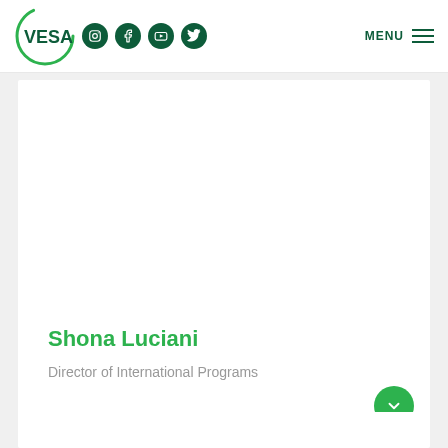VESA — MENU
[Figure (logo): VESA logo — green circle arc with VESA text in dark green bold, followed by social media icons (Instagram, Facebook, YouTube, Twitter) as dark green circles, and MENU hamburger on the right]
Shona Luciani
Director of International Programs